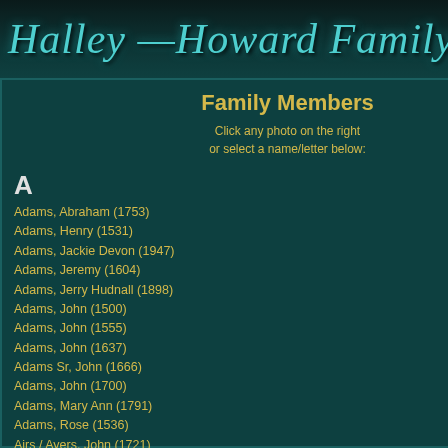Halley Howard Family Ph...
Family Members
Click any photo on the right or select a name/letter below:
A
Adams, Abraham (1753)
Adams, Henry (1531)
Adams, Jackie Devon (1947)
Adams, Jeremy (1604)
Adams, Jerry Hudnall (1898)
Adams, John (1500)
Adams, John (1555)
Adams, John (1637)
Adams Sr, John (1666)
Adams, John (1700)
Adams, Mary Ann (1791)
Adams, Rose (1536)
Airs / Ayers, John (1721)
Akin, Isabella America (1863)
Alexander, Andrew (Drew) (1860)
Alexander, Joseph C. (1891)
Alexander, Martha Melvina (1866)
Alexander, Thomas Houston (1809)
Alexander, William Lee (Pa) (1900)
Allen, Rainey Edgar (1919)
Anderson, Sarah ' Sally ' Iola (1886)
Andrews, Catherine M. (1652)
Antonucci, Faustino (1739)
Antonucci, Fillippo (1819)
Antonucci, Giacomo Antonio 'John George' (1863)
Antonucci, Pasquale (1795)
[Figure (photo): Portrait photograph of a bearded man in dark clothing, likely mid-19th century]
Capt. John 'Jack' D Ayers 10/7/1791 - 185...